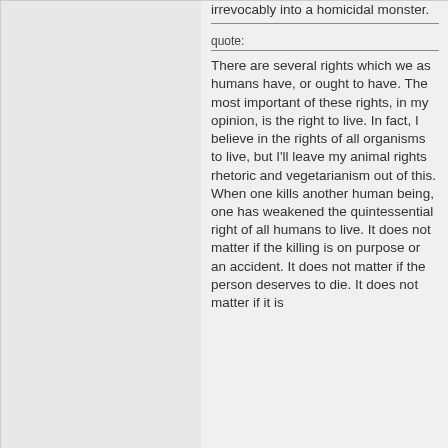irrevocably into a homicidal monster.
quote:
There are several rights which we as humans have, or ought to have. The most important of these rights, in my opinion, is the right to live. In fact, I believe in the rights of all organisms to live, but I'll leave my animal rights rhetoric and vegetarianism out of this.
When one kills another human being, one has weakened the quintessential right of all humans to live. It does not matter if the killing is on purpose or an accident. It does not matter if the person deserves to die. It does not matter if it is